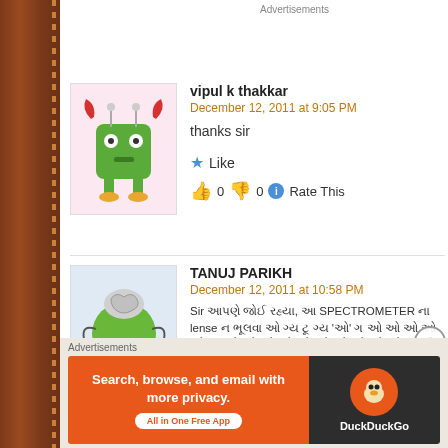[Figure (screenshot): Jetpack advertisement banner with green background showing Jetpack logo and 'Back up' button]
vipul k thakkar
December 12, 2011 at 9:05 PM
thanks sir
Like
👍 0 👎 0 ℹ Rate This
TANUJ PARIKH
December 12, 2011 at 10:58 PM
Sir [Gujarati text] SPECTROMETER [Gujarati text] lense [Gujarati text] beats [English] music instruments [Gujarati] JAY !!!
[Figure (screenshot): DuckDuckGo advertisement: Search, browse, and email with more privacy. All in One Free App.]